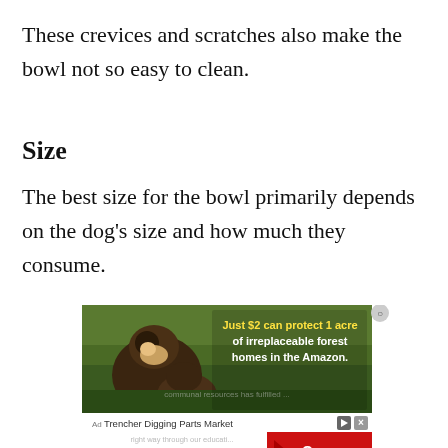These crevices and scratches also make the bowl not so easy to clean.
Size
The best size for the bowl primarily depends on the dog's size and how much they consume.
[Figure (photo): Advertisement banner showing a monkey/primate in a forest setting with text overlay reading 'Just $2 can protect 1 acre of irreplaceable forest homes in the Amazon.' Below: 'Trencher Digging Parts Market' with an 'Open' button in red, and an 'Ad' label.]